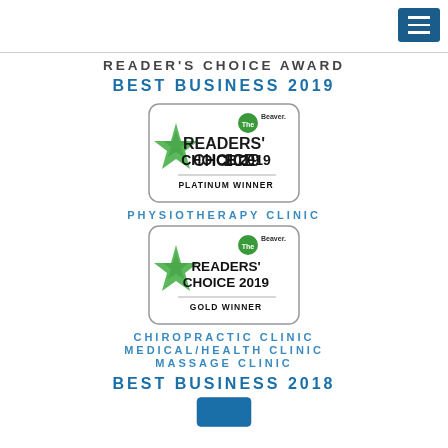[Figure (logo): Hamburger menu icon (three horizontal lines) on blue background, top right corner]
READER'S CHOICE AWARD
BEST BUSINESS 2019
[Figure (logo): The Beaver Readers' Choice 2019 Platinum Winner badge with green star]
PHYSIOTHERAPY CLINIC
[Figure (logo): The Beaver Readers' Choice 2019 Gold Winner badge with green star]
CHIROPRACTIC CLINIC
MEDICAL/HEALTH CLINIC
MASSAGE CLINIC
BEST BUSINESS 2018